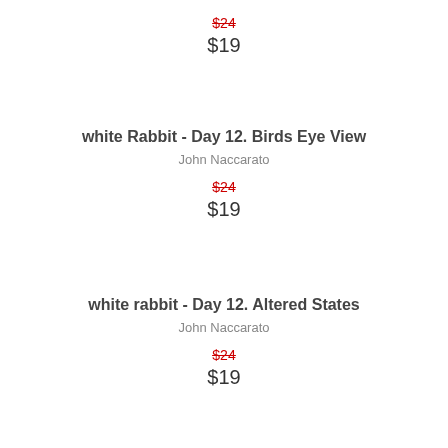$24 (strikethrough) $19
white Rabbit - Day 12. Birds Eye View
John Naccarato
$24 (strikethrough) $19
white rabbit - Day 12. Altered States
John Naccarato
$24 (strikethrough) $19